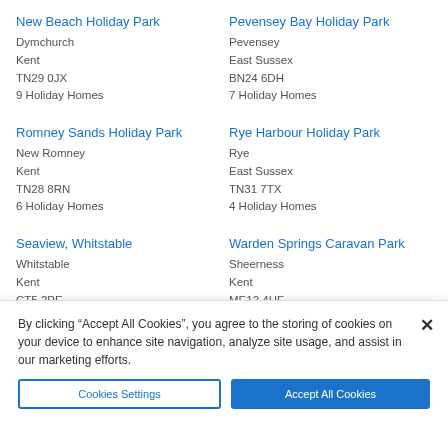New Beach Holiday Park
Dymchurch
Kent
TN29 0JX
9 Holiday Homes
Pevensey Bay Holiday Park
Pevensey
East Sussex
BN24 6DH
7 Holiday Homes
Romney Sands Holiday Park
New Romney
Kent
TN28 8RN
6 Holiday Homes
Rye Harbour Holiday Park
Rye
East Sussex
TN31 7TX
4 Holiday Homes
Seaview, Whitstable
Whitstable
Kent
CT5 2PE
4 Holiday Homes
Warden Springs Caravan Park
Sheerness
Kent
ME12 4HF
1 Holiday Home
By clicking “Accept All Cookies”, you agree to the storing of cookies on your device to enhance site navigation, analyze site usage, and assist in our marketing efforts.